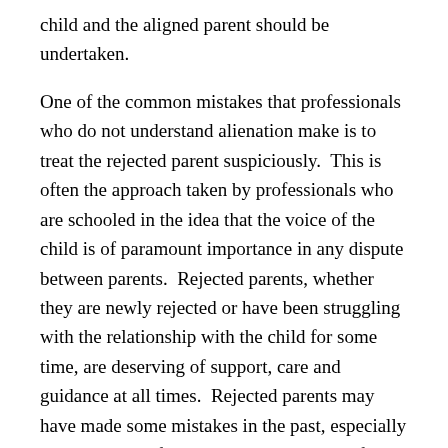child and the aligned parent should be undertaken.
One of the common mistakes that professionals who do not understand alienation make is to treat the rejected parent suspiciously.  This is often the approach taken by professionals who are schooled in the idea that the voice of the child is of paramount importance in any dispute between parents.  Rejected parents, whether they are newly rejected or have been struggling with the relationship with the child for some time, are deserving of support, care and guidance at all times.  Rejected parents may have made some mistakes in the past, especially when the child first went into withdrawal from them. This does not mean that they are the cause of the problem and it does not mean that they should be treated in the same way as the aligned